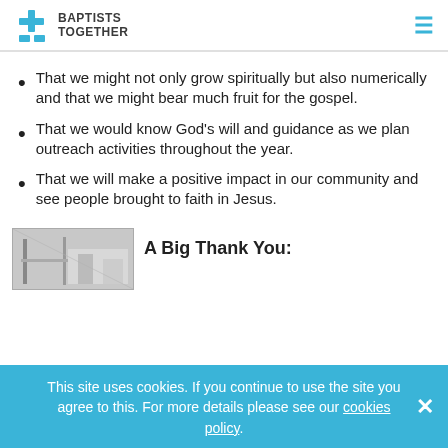BAPTISTS TOGETHER
That we might not only grow spiritually but also numerically and that we might bear much fruit for the gospel.
That we would know God’s will and guidance as we plan outreach activities throughout the year.
That we will make a positive impact in our community and see people brought to faith in Jesus.
[Figure (photo): A photo of a church interior with a lectern/pulpit visible]
A Big Thank You:
This site uses cookies. If you continue to use the site you agree to this. For more details please see our cookies policy.